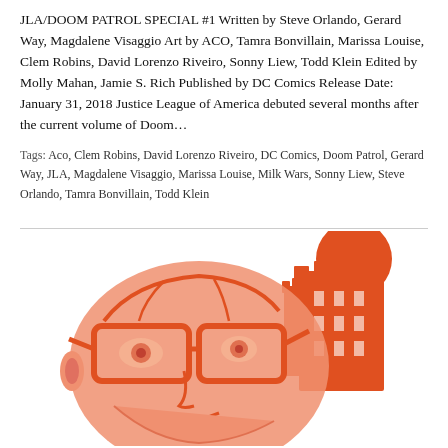JLA/DOOM PATROL SPECIAL #1 Written by Steve Orlando, Gerard Way, Magdalene Visaggio Art by ACO, Tamra Bonvillain, Marissa Louise, Clem Robins, David Lorenzo Riveiro, Sonny Liew, Todd Klein Edited by Molly Mahan, Jamie S. Rich Published by DC Comics Release Date: January 31, 2018 Justice League of America debuted several months after the current volume of Doom…
Tags: Aco, Clem Robins, David Lorenzo Riveiro, DC Comics, Doom Patrol, Gerard Way, JLA, Magdalene Visaggio, Marissa Louise, Milk Wars, Sonny Liew, Steve Orlando, Tamra Bonvillain, Todd Klein
[Figure (illustration): Illustrated artwork showing a stylized face with large glasses in salmon/light orange, with a darker orange tower/castle structure in the background right, and a large orange circle (sun or moon) at top right. Artwork related to JLA/Doom Patrol comic.]